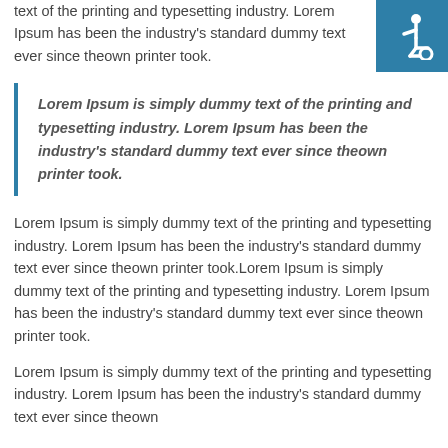text of the printing and typesetting industry. Lorem Ipsum has been the industry's standard dummy text ever since theown printer took.
[Figure (illustration): Accessibility icon: white wheelchair user symbol on teal/blue square background]
Lorem Ipsum is simply dummy text of the printing and typesetting industry. Lorem Ipsum has been the industry's standard dummy text ever since theown printer took.
Lorem Ipsum is simply dummy text of the printing and typesetting industry. Lorem Ipsum has been the industry's standard dummy text ever since theown printer took.Lorem Ipsum is simply dummy text of the printing and typesetting industry. Lorem Ipsum has been the industry's standard dummy text ever since theown printer took.
Lorem Ipsum is simply dummy text of the printing and typesetting industry. Lorem Ipsum has been the industry's standard dummy text ever since theown